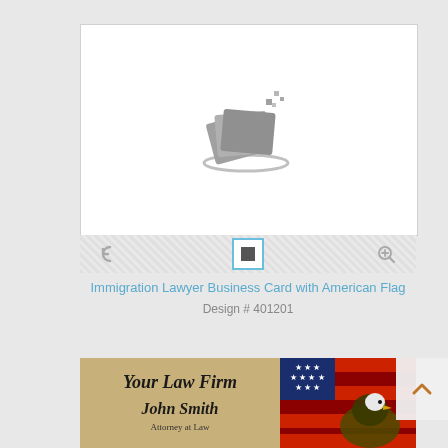[Figure (logo): Document/card design application logo — stacked gray cards with pixel dots and a swoosh, on white background]
[Figure (screenshot): Toolbar with undo (rotate-left) icon, a square toggle button with blue border, and zoom-in icon, on hatched gray background]
Immigration Lawyer Business Card with American Flag
Design # 401201
[Figure (photo): Business card template showing 'Your Law Firm' and 'John Smith Attorney at Law' in cursive text on aged parchment background with American flag and bald eagle on the right side]